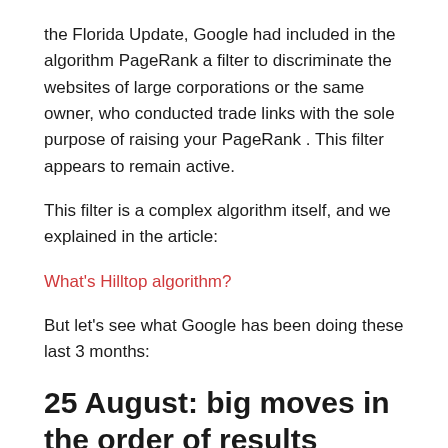the Florida Update, Google had included in the algorithm PageRank a filter to discriminate the websites of large corporations or the same owner, who conducted trade links with the sole purpose of raising your PageRank . This filter appears to remain active.
This filter is a complex algorithm itself, and we explained in the article:
What's Hilltop algorithm?
But let's see what Google has been doing these last 3 months:
25 August: big moves in the order of results